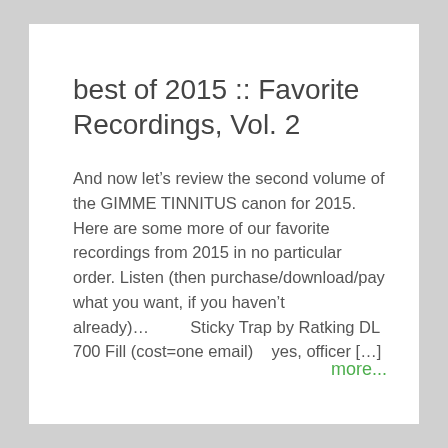best of 2015 :: Favorite Recordings, Vol. 2
And now let’s review the second volume of the GIMME TINNITUS canon for 2015. Here are some more of our favorite recordings from 2015 in no particular order. Listen (then purchase/download/pay what you want, if you haven’t already)…         Sticky Trap by Ratking DL 700 Fill (cost=one email)     yes, officer […]
more...